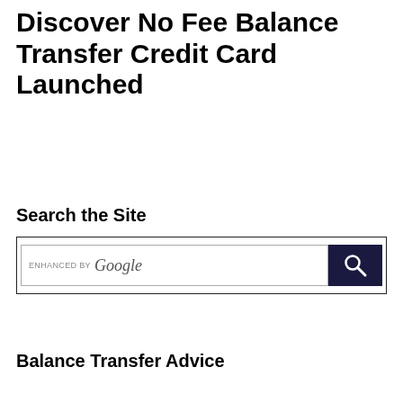Discover No Fee Balance Transfer Credit Card Launched
Search the Site
[Figure (screenshot): Google custom search box with 'enhanced by Google' label and a search button with magnifying glass icon on dark navy background]
Balance Transfer Advice